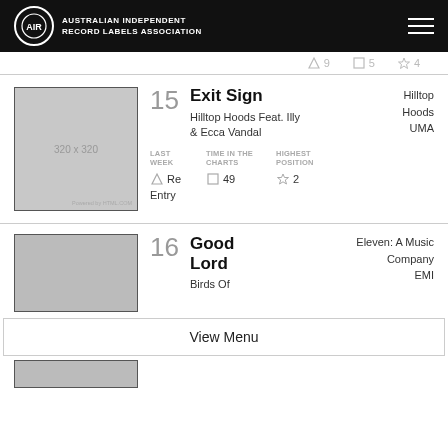AUSTRALIAN INDEPENDENT RECORD LABELS ASSOCIATION
Re Entry  49  2
[Figure (photo): Album art placeholder 320x320 for Exit Sign]
15  Exit Sign  Hilltop Hoods Feat. Illy & Ecca Vandal  Hilltop Hoods UMA  LAST WEEK: Re Entry  TIME IN THE CHARTS: 49  HIGHEST POSITION: 2
[Figure (photo): Album art placeholder for Good Lord]
16  Good Lord  Birds Of  Eleven: A Music Company EMI
View Menu